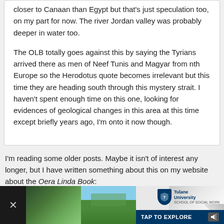closer to Canaan than Egypt but that's just speculation too, on my part for now. The river Jordan valley was probably deeper in water too.
The OLB totally goes against this by saying the Tyrians arrived there as men of Neef Tunis and Magyar from nth Europe so the Herodotus quote becomes irrelevant but this time they are heading south through this mystery strait. I haven't spent enough time on this one, looking for evidences of geological changes in this area at this time except briefly years ago, I'm onto it now though.
I'm reading some older posts. Maybe it isn't of interest any longer, but I have written something about this on my website about the Oera Linda Book:
http://oeralindabook.com/strait/
[Figure (other): Advertisement banner at bottom of page for Tulane University School of Social Work with aerial landscape photos and 'TAP TO EXPLORE' call to action]